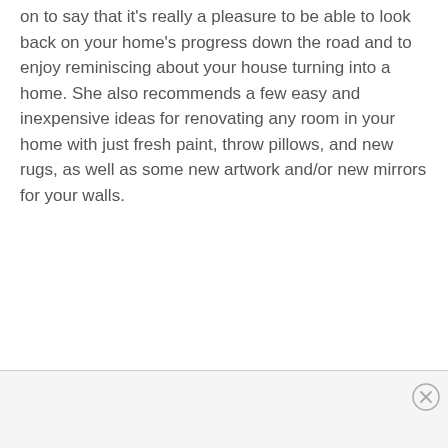on to say that it's really a pleasure to be able to look back on your home's progress down the road and to enjoy reminiscing about your house turning into a home. She also recommends a few easy and inexpensive ideas for renovating any room in your home with just fresh paint, throw pillows, and new rugs, as well as some new artwork and/or new mirrors for your walls.
[Figure (other): Advertisement area with a close (X) button in the top-right corner]